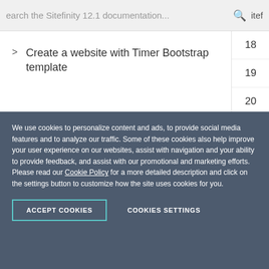Search the Sitefinity 12.1 documentation...
> Create a website with Timer Bootstrap template
> Style your website with custom themes and templates
We use cookies to personalize content and ads, to provide social media features and to analyze our traffic. Some of these cookies also help improve your user experience on our websites, assist with navigation and your ability to provide feedback, and assist with our promotional and marketing efforts. Please read our Cookie Policy for a more detailed description and click on the settings button to customize how the site uses cookies for you.
ACCEPT COOKIES | COOKIES SETTINGS